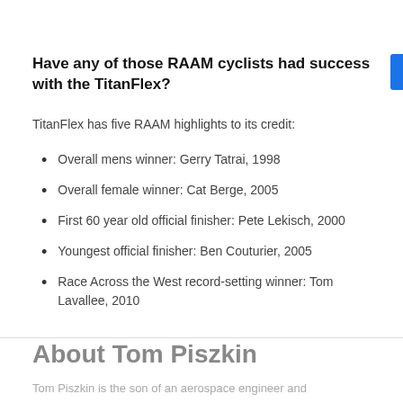Have any of those RAAM cyclists had success with the TitanFlex?
TitanFlex has five RAAM highlights to its credit:
Overall mens winner: Gerry Tatrai, 1998
Overall female winner: Cat Berge, 2005
First 60 year old official finisher: Pete Lekisch, 2000
Youngest official finisher: Ben Couturier, 2005
Race Across the West record-setting winner: Tom Lavallee, 2010
About Tom Piszkin
Tom Piszkin is the son of an aerospace engineer and